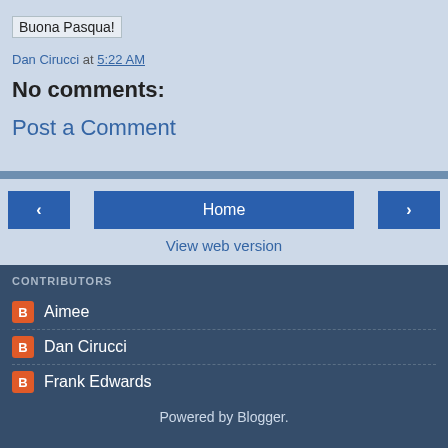Buona Pasqua!
Dan Cirucci at 5:22 AM
No comments:
Post a Comment
Home
View web version
CONTRIBUTORS
Aimee
Dan Cirucci
Frank Edwards
Powered by Blogger.